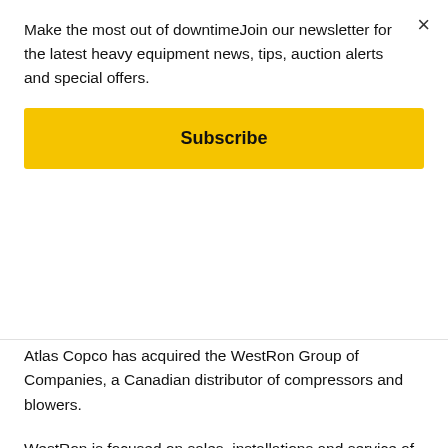Make the most out of downtimeJoin our newsletter for the latest heavy equipment news, tips, auction alerts and special offers.
Subscribe
Atlas Copco has acquired the WestRon Group of Companies, a Canadian distributor of compressors and blowers.
WestRon is focused on sales, installations and service of small industrial compressors and blowers. The company’s main focus is servicing and selling compressors and equipment to the general industrial manufacturing industry.
The purchase price of the acquisition is “not material relative to Atlas Copco’s market capitalization” and was not disclosed by the...